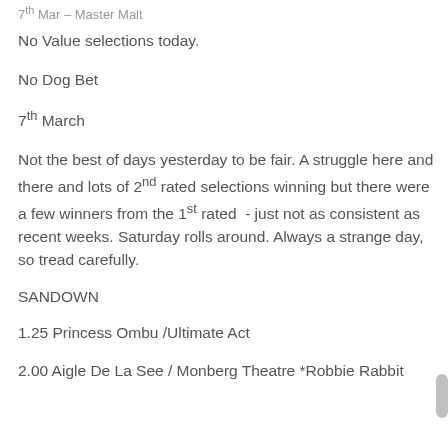7th Mar – Master Malt
No Value selections today.
No Dog Bet
7th March
Not the best of days yesterday to be fair. A struggle here and there and lots of 2nd rated selections winning but there were a few winners from the 1st rated  - just not as consistent as recent weeks. Saturday rolls around. Always a strange day, so tread carefully.
SANDOWN
1.25 Princess Ombu /Ultimate Act
2.00 Aigle De La See / Monberg Theatre *Robbie Rabbit